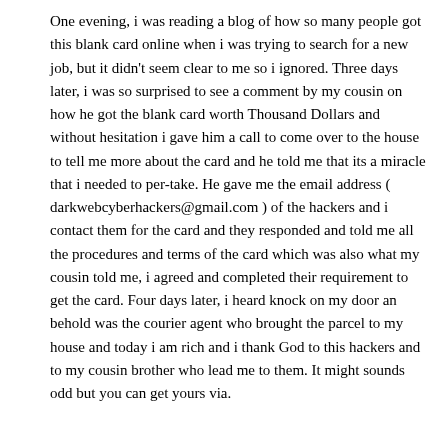One evening, i was reading a blog of how so many people got this blank card online when i was trying to search for a new job, but it didn't seem clear to me so i ignored. Three days later, i was so surprised to see a comment by my cousin on how he got the blank card worth Thousand Dollars and without hesitation i gave him a call to come over to the house to tell me more about the card and he told me that its a miracle that i needed to per-take. He gave me the email address ( darkwebcyberhackers@gmail.com ) of the hackers and i contact them for the card and they responded and told me all the procedures and terms of the card which was also what my cousin told me, i agreed and completed their requirement to get the card. Four days later, i heard knock on my door an behold was the courier agent who brought the parcel to my house and today i am rich and i thank God to this hackers and to my cousin brother who lead me to them. It might sounds odd but you can get yours via.